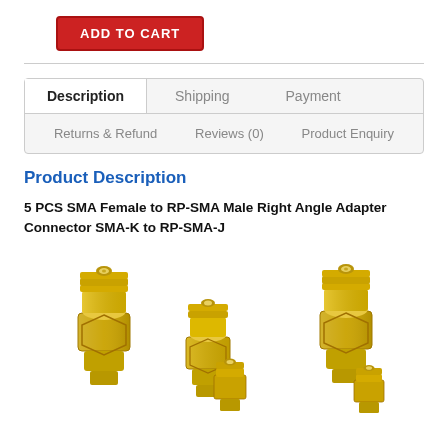ADD TO CART
Description | Shipping | Payment | Returns & Refund | Reviews (0) | Product Enquiry
Product Description
5 PCS SMA Female to RP-SMA Male Right Angle Adapter Connector SMA-K to RP-SMA-J
[Figure (photo): Gold-plated SMA female to RP-SMA male right angle adapter connectors, multiple units shown]